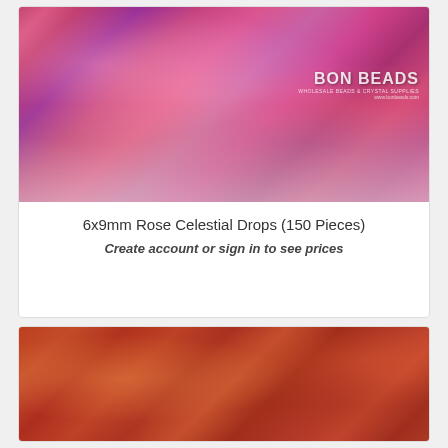[Figure (photo): Close-up photo of 6x9mm Rose Celestial Drop glass beads showing transparent pink, red, and purple iridescent teardrop shapes clustered together. Bon Beads watermark visible in upper right.]
6x9mm Rose Celestial Drops (150 Pieces)
Create account or sign in to see prices
[Figure (photo): Close-up photo of orange-red iridescent glass drop beads with golden shimmer and textured surface, shown strung together on a strand.]